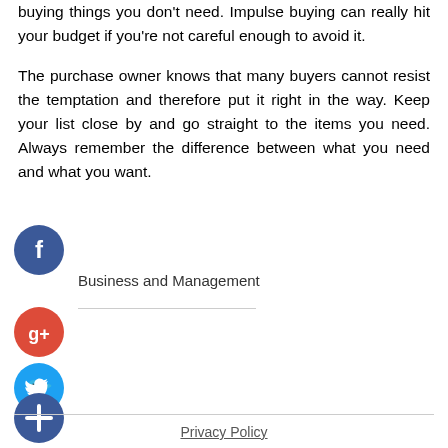buying things you don't need. Impulse buying can really hit your budget if you're not careful enough to avoid it.
The purchase owner knows that many buyers cannot resist the temptation and therefore put it right in the way. Keep your list close by and go straight to the items you need. Always remember the difference between what you need and what you want.
[Figure (logo): Facebook social share button - blue circle with white 'f' icon]
Business and Management
[Figure (logo): Google Plus social share button - red circle with white 'g+' icon]
[Figure (logo): Twitter social share button - blue circle with white bird icon]
[Figure (logo): Add/Plus social share button - dark blue circle with white '+' icon]
Privacy Policy